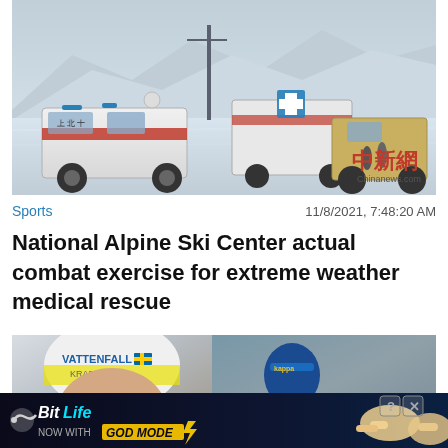[Figure (photo): Ambulances and emergency vehicles parked in snowy landscape at National Alpine Ski Center, with Chinese news watermark (Chinanews.com) and red Chinese characters in bottom right corner]
Sports    11/8/2021, 7:48:20 AM
National Alpine Ski Center actual combat exercise for extreme weather medical rescue
[Figure (photo): Two side-by-side sports photos: left shows a male athlete in white hat with VATTENFALL/KRAFT branding, right shows a female athlete in blue/yellow outfit leaning forward]
[Figure (screenshot): BitLife game advertisement banner: 'NOW WITH GOD MODE' on dark blue background with game character illustrations and close icons]